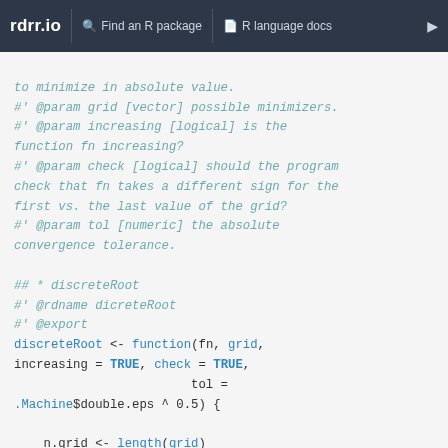rdrr.io   Find an R package   R language docs
to minimize in absolute value.
#' @param grid [vector] possible minimizers.
#' @param increasing [logical] is the function fn increasing?
#' @param check [logical] should the program check that fn takes a different sign for the first vs. the last value of the grid?
#' @param tol [numeric] the absolute convergence tolerance.

## * discreteRoot
#' @rdname dicreteRoot
#' @export
discreteRoot <- function(fn, grid,
increasing = TRUE, check = TRUE,
                        tol =
.Machine$double.eps ^ 0.5) {

    n.grid <- length(grid)
    value.grid <- rep(NA, n.grid)